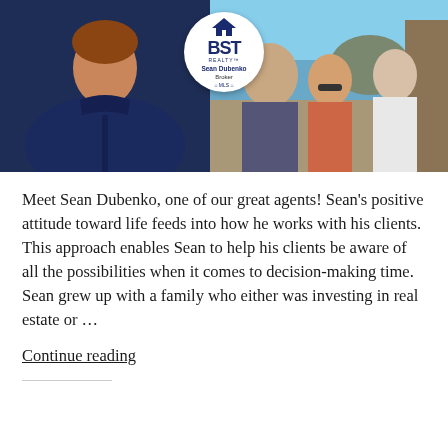[Figure (photo): Photo collage: left side shows a man in a dark navy shirt; center has a circular BST Realty logo with Sean Dubenko Broker text; right side shows three people (a man, a woman with sunglasses, and an older man) outdoors near a coastline.]
Meet Sean Dubenko, one of our great agents! Sean's positive attitude toward life feeds into how he works with his clients. This approach enables Sean to help his clients be aware of all the possibilities when it comes to decision-making time. Sean grew up with a family who either was investing in real estate or ...
Continue reading